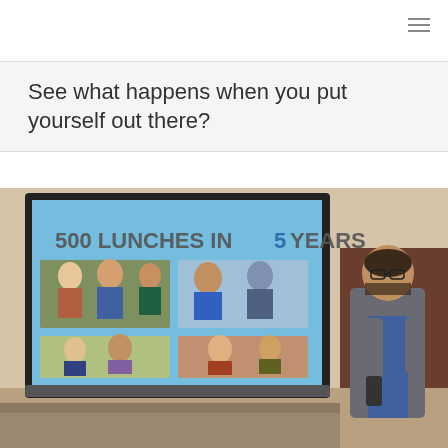See what happens when you put yourself out there?
[Figure (photo): A man in a suit speaking at a podium/presentation, holding a microphone, with a projected slide behind him showing '500 LUNCHES IN 5 YEARS' with collage photos of people at lunches.]